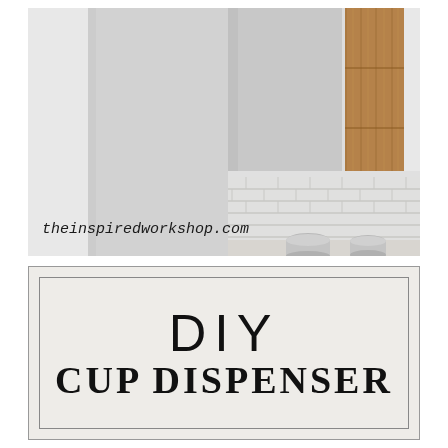[Figure (photo): Kitchen photo showing white cabinets, subway tile backsplash, a wooden DIY cup dispenser mounted between cabinets with a white cup dispensed, and metal canisters on the counter. Watermark text reads 'theinspiredworkshop.com'.]
DIY CUP DISPENSER